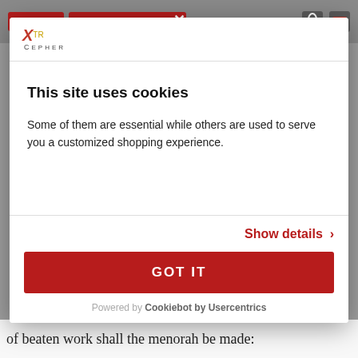[Figure (screenshot): Top navigation bar with back and join discussion buttons, close icon, microphone and YouTube icons]
[Figure (logo): XTR Cipher logo in top-left of cookie modal]
This site uses cookies
Some of them are essential while others are used to serve you a customized shopping experience.
Show details >
GOT IT
Powered by Cookiebot by Usercentrics
of beaten work shall the menorah be made: